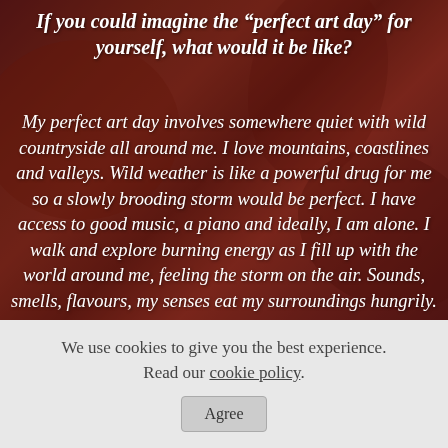If you could imagine the “perfect art day” for yourself, what would it be like?
My perfect art day involves somewhere quiet with wild countryside all around me. I love mountains, coastlines and valleys. Wild weather is like a powerful drug for me so a slowly brooding storm would be perfect. I have access to good music, a piano and ideally, I am alone. I walk and explore burning energy as I fill up with the world around me, feeling the storm on the air. Sounds, smells, flavours, my senses eat my surroundings hungrily. I listen to the soil and the surroundings...
We use cookies to give you the best experience. Read our cookie policy.